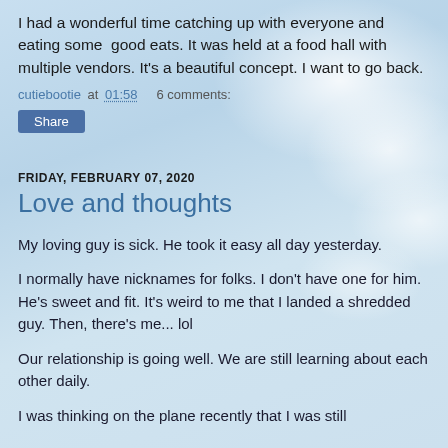I had a wonderful time catching up with everyone and eating some  good eats. It was held at a food hall with multiple vendors. It's a beautiful concept. I want to go back.
cutiebootie at 01:58    6 comments:
Share
FRIDAY, FEBRUARY 07, 2020
Love and thoughts
My loving guy is sick. He took it easy all day yesterday.
I normally have nicknames for folks. I don't have one for him. He's sweet and fit. It's weird to me that I landed a shredded guy. Then, there's me... lol
Our relationship is going well. We are still learning about each other daily.
I was thinking on the plane recently that I was still